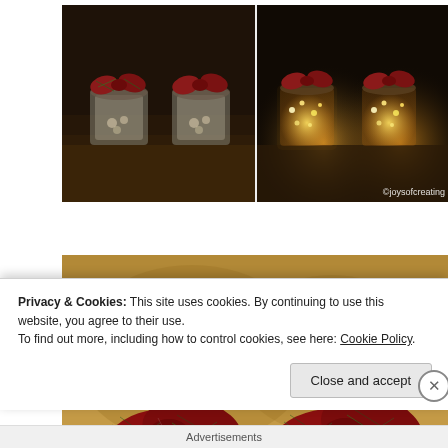[Figure (photo): Two small mason jars with red plaid bow ties on lids, containing cookies/treats, photographed on a dark wooden surface. Left image shows jars in ambient light; right image shows same style jars lit with fairy lights glowing inside, with watermark ©joysofcreating in bottom right corner.]
[Figure (photo): Close-up large photo of two mason jars with red and green plaid ribbon bows tied around the neck, filled with small star-shaped pasta or cookies, glowing with warm fairy lights inside, on a wooden surface.]
Privacy & Cookies: This site uses cookies. By continuing to use this website, you agree to their use.
To find out more, including how to control cookies, see here: Cookie Policy.
Close and accept
Advertisements